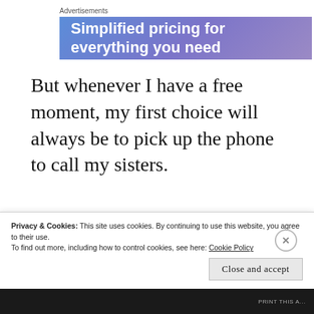Advertisements
[Figure (illustration): Advertisement banner with gradient blue-purple background showing text: 'Simplified pricing for everything you need']
But whenever I have a free moment, my first choice will always be to pick up the phone to call my sisters.
Privacy & Cookies: This site uses cookies. By continuing to use this website, you agree to their use.
To find out more, including how to control cookies, see here: Cookie Policy
Close and accept